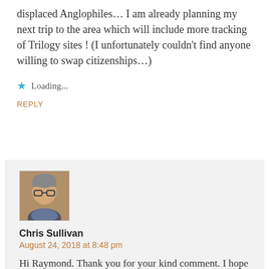displaced Anglophiles... I am already planning my next trip to the area which will include more tracking of Trilogy sites ! (I unfortunately couldn't find anyone willing to swap citizenships...)
★  Loading...
REPLY
[Figure (photo): Avatar photo of Chris Sullivan, a man with glasses]
Chris Sullivan
August 24, 2018 at 8:48 pm
Hi Raymond. Thank you for your kind comment. I hope you get the chance soon to spend more time in Oxford.